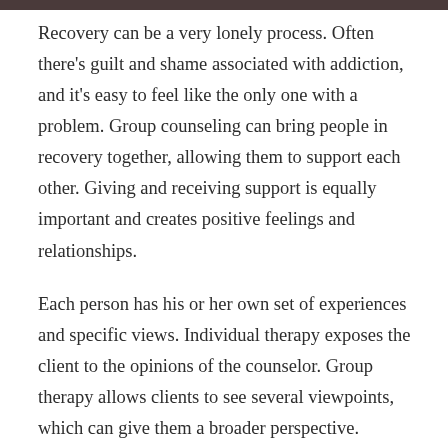Recovery can be a very lonely process. Often there's guilt and shame associated with addiction, and it's easy to feel like the only one with a problem. Group counseling can bring people in recovery together, allowing them to support each other. Giving and receiving support is equally important and creates positive feelings and relationships.
Each person has his or her own set of experiences and specific views. Individual therapy exposes the client to the opinions of the counselor. Group therapy allows clients to see several viewpoints, which can give them a broader perspective.
Receiving support and knowing that others are dealing with similar issues and struggles can allow clients to build close relationships and gain a feeling of acceptance. Since the other participants are viewed as peers with similar experiences, they may be more likely to talk about aspects